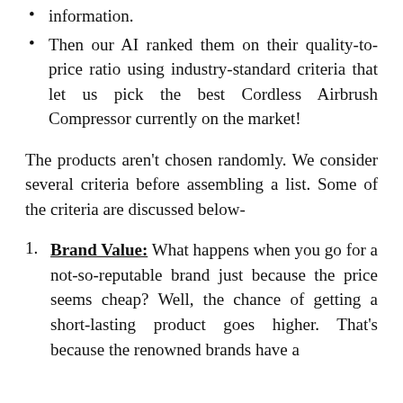information.
Then our AI ranked them on their quality-to-price ratio using industry-standard criteria that let us pick the best Cordless Airbrush Compressor currently on the market!
The products aren't chosen randomly. We consider several criteria before assembling a list. Some of the criteria are discussed below-
Brand Value: What happens when you go for a not-so-reputable brand just because the price seems cheap? Well, the chance of getting a short-lasting product goes higher. That's because the renowned brands have a